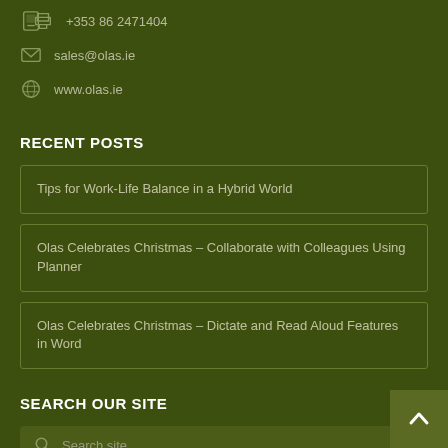+353 86 2471404
sales@olas.ie
www.olas.ie
RECENT POSTS
Tips for Work-Life Balance in a Hybrid World
Olas Celebrates Christmas – Collaborate with Colleagues Using Planner
Olas Celebrates Christmas – Dictate and Read Aloud Features in Word
SEARCH OUR SITE
Search site